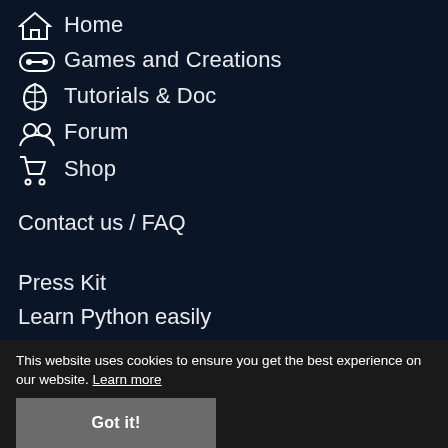Home
Games and Creations
Tutorials & Doc
Forum
Shop
Contact us / FAQ
Press Kit
Learn Python easily
Terms of service
This website uses cookies to ensure you get the best experience on our website. Learn more
Got it!